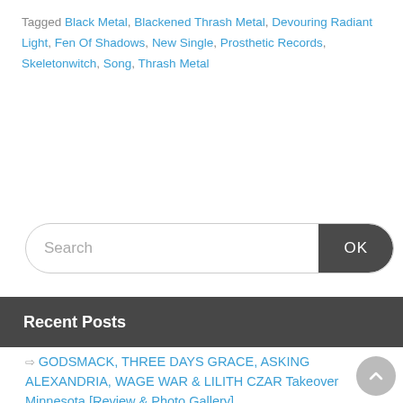Tagged Black Metal, Blackened Thrash Metal, Devouring Radiant Light, Fen Of Shadows, New Single, Prosthetic Records, Skeletonwitch, Song, Thrash Metal
[Figure (other): Search input box with OK button, rounded pill shape]
Recent Posts
GODSMACK, THREE DAYS GRACE, ASKING ALEXANDRIA, WAGE WAR & LILITH CZAR Takeover Minnesota [Review & Photo Gallery]